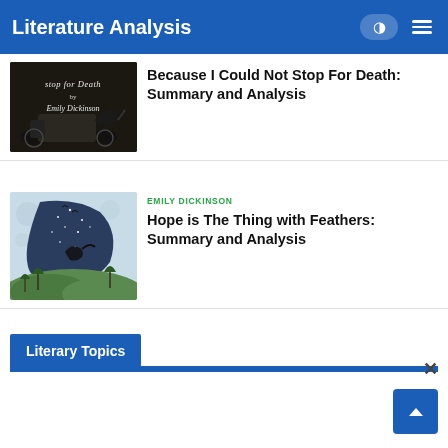Literature Analysis
[Figure (illustration): Dark vintage illustration with text 'stop for Death by Emily Dickinson' showing a horse-drawn carriage]
Because I Could Not Stop For Death: Summary and Analysis
[Figure (illustration): Colorful illustration showing a moonlit landscape with a large crescent/shield shape containing a starry night sky, trees, and birds]
EMILY DICKINSON
Hope is The Thing with Feathers: Summary and Analysis
Literary Topics